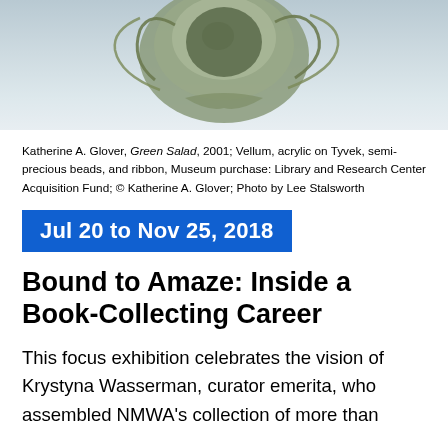[Figure (photo): Photograph of a sculptural object resembling a green form made from vellum, semi-precious beads, and ribbon, partially cropped at top of page]
Katherine A. Glover, Green Salad, 2001; Vellum, acrylic on Tyvek, semi-precious beads, and ribbon, Museum purchase: Library and Research Center Acquisition Fund; © Katherine A. Glover; Photo by Lee Stalsworth
Jul 20 to Nov 25, 2018
Bound to Amaze: Inside a Book-Collecting Career
This focus exhibition celebrates the vision of Krystyna Wasserman, curator emerita, who assembled NMWA's collection of more than